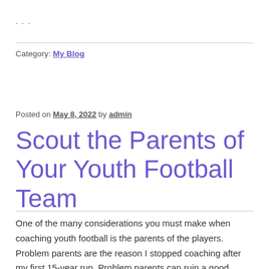...
Category: My Blog
Posted on May 8, 2022 by admin
Scout the Parents of Your Youth Football Team
One of the many considerations you must make when coaching youth football is the parents of the players. Problem parents are the reason I stopped coaching after my first 15-year run. Problem parents can ruin a good